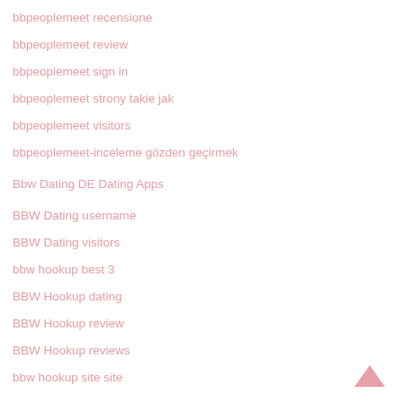bbpeoplemeet recensione
bbpeoplemeet review
bbpeoplemeet sign in
bbpeoplemeet strony takie jak
bbpeoplemeet visitors
bbpeoplemeet-inceleme gözden geçirmek
Bbw Dating DE Dating Apps
BBW Dating username
BBW Dating visitors
bbw hookup best 3
BBW Hookup dating
BBW Hookup review
BBW Hookup reviews
bbw hookup site site